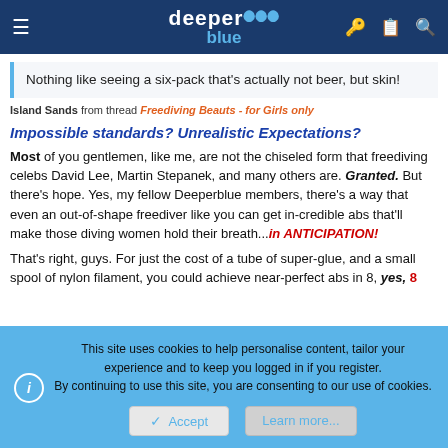deeper blue
Nothing like seeing a six-pack that's actually not beer, but skin!
Island Sands from thread Freediving Beauts - for Girls only
Impossible standards? Unrealistic Expectations?
Most of you gentlemen, like me, are not the chiseled form that freediving celebs David Lee, Martin Stepanek, and many others are. Granted. But there's hope. Yes, my fellow Deeperblue members, there's a way that even an out-of-shape freediver like you can get in-credible abs that'll make those diving women hold their breath...in ANTICIPATION!
That's right, guys. For just the cost of a tube of super-glue, and a small spool of nylon filament, you could achieve near-perfect abs in 8, yes, 8
This site uses cookies to help personalise content, tailor your experience and to keep you logged in if you register.
By continuing to use this site, you are consenting to our use of cookies.